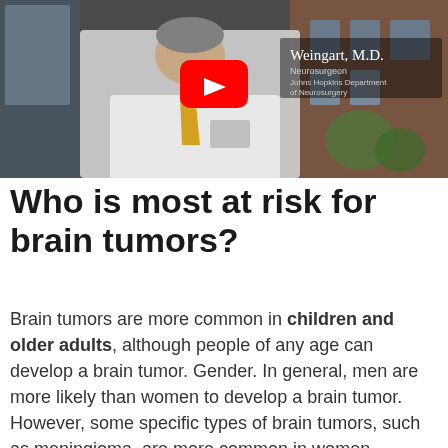[Figure (screenshot): YouTube video thumbnail showing a doctor in a white lab coat with a yellow tie, with text overlay showing 'Weingart, M.D. Neurosurgeon, Johns Hopkins Department of Neurosurgery' and a YouTube play button]
Who is most at risk for brain tumors?
Brain tumors are more common in children and older adults, although people of any age can develop a brain tumor. Gender. In general, men are more likely than women to develop a brain tumor. However, some specific types of brain tumors, such as meningioma, are more common in women.